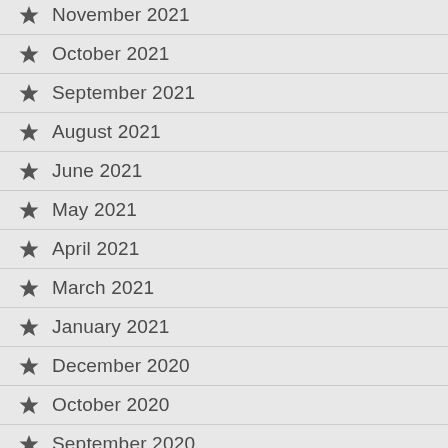November 2021
October 2021
September 2021
August 2021
June 2021
May 2021
April 2021
March 2021
January 2021
December 2020
October 2020
September 2020